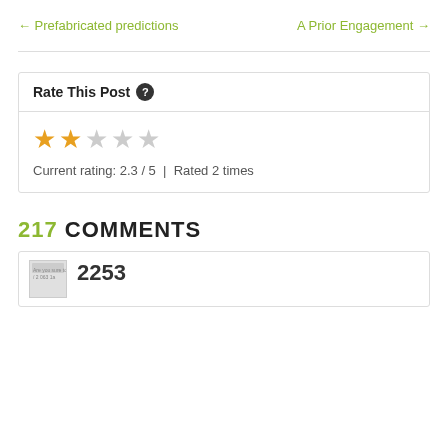← Prefabricated predictions
A Prior Engagement →
Rate This Post
[Figure (other): Star rating widget showing 2 filled stars and 3 empty stars]
Current rating: 2.3 / 5  |  Rated 2 times
217 COMMENTS
[Figure (other): Partial comment block showing avatar and number 2253]